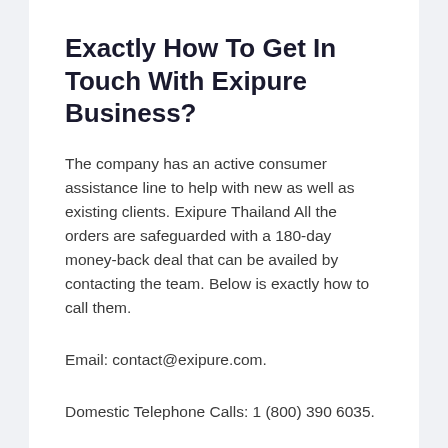Exactly How To Get In Touch With Exipure Business?
The company has an active consumer assistance line to help with new as well as existing clients. Exipure Thailand All the orders are safeguarded with a 180-day money-back deal that can be availed by contacting the team. Below is exactly how to call them.
Email: contact@exipure.com.
Domestic Telephone Calls: 1 (800) 390 6035.
International Phone Calls: 1 (208) 345 4245.